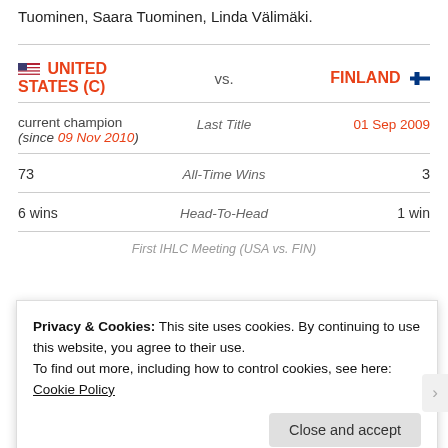Tuominen, Saara Tuominen, Linda Välimäki.
| UNITED STATES (C) | vs. | FINLAND |
| --- | --- | --- |
| current champion (since 09 Nov 2010) | Last Title | 01 Sep 2009 |
| 73 | All-Time Wins | 3 |
| 6 wins | Head-To-Head | 1 win |
|  | First IHLC Meeting (USA vs. FIN) |  |
Privacy & Cookies: This site uses cookies. By continuing to use this website, you agree to their use.
To find out more, including how to control cookies, see here: Cookie Policy